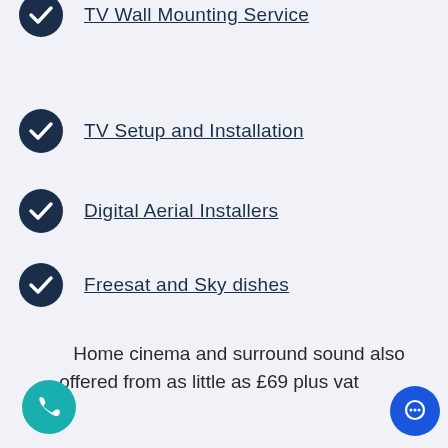TV Wall Mounting Service
TV Setup and Installation
Digital Aerial Installers
Freesat and Sky dishes
DAB and FM Radio antennas
Telephone line repairs
Home cinema and surround sound also offered from as little as £69 plus vat